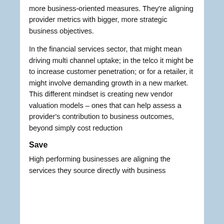more business-oriented measures. They're aligning provider metrics with bigger, more strategic business objectives.
In the financial services sector, that might mean driving multi channel uptake; in the telco it might be to increase customer penetration; or for a retailer, it might involve demanding growth in a new market. This different mindset is creating new vendor valuation models – ones that can help assess a provider's contribution to business outcomes, beyond simply cost reduction
Save
High performing businesses are aligning the services they source directly with business